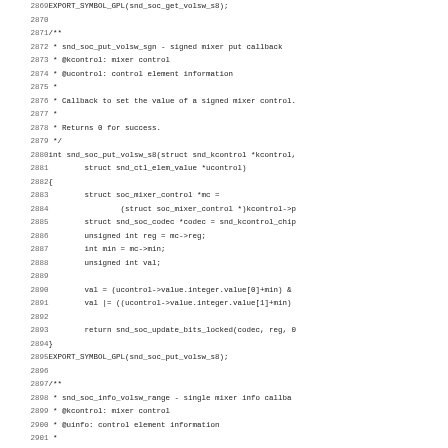Source code listing, lines 2869-2900, showing C kernel audio functions snd_soc_put_volsw_sgn and snd_soc_info_volsw_range with documentation comments and implementation.